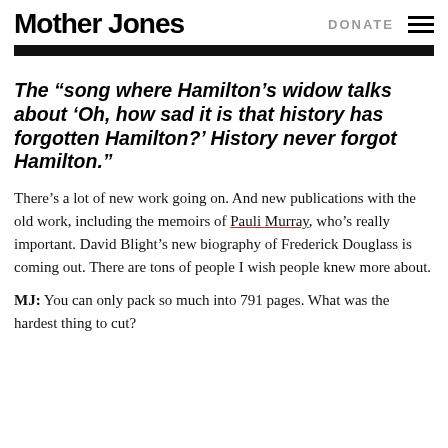Mother Jones | DONATE
The “song where Hamilton’s widow talks about ‘Oh, how sad it is that history has forgotten Hamilton?’ History never forgot Hamilton.”
There’s a lot of new work going on. And new publications with the old work, including the memoirs of Pauli Murray, who’s really important. David Blight’s new biography of Frederick Douglass is coming out. There are tons of people I wish people knew more about.
MJ: You can only pack so much into 791 pages. What was the hardest thing to cut?